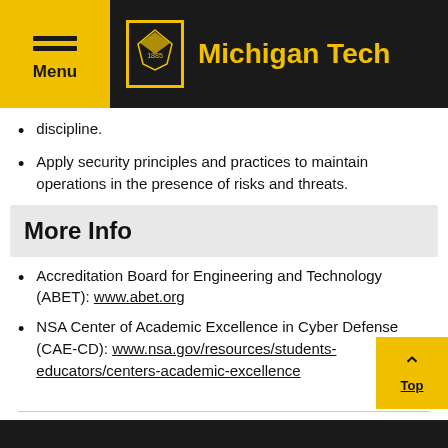Michigan Tech
discipline.
Apply security principles and practices to maintain operations in the presence of risks and threats.
More Info
Accreditation Board for Engineering and Technology (ABET): www.abet.org
NSA Center of Academic Excellence in Cyber Defense (CAE-CD): www.nsa.gov/resources/students-educators/centers-academic-excellence